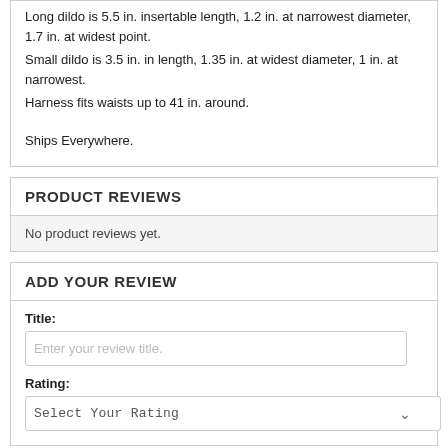Long dildo is 5.5 in. insertable length, 1.2 in. at narrowest diameter, 1.7 in. at widest point.
Small dildo is 3.5 in. in length, 1.35 in. at widest diameter, 1 in. at narrowest.
Harness fits waists up to 41 in. around.
Ships Everywhere.
PRODUCT REVIEWS
No product reviews yet.
ADD YOUR REVIEW
Title:
Enter your review title.
Rating:
Select Your Rating